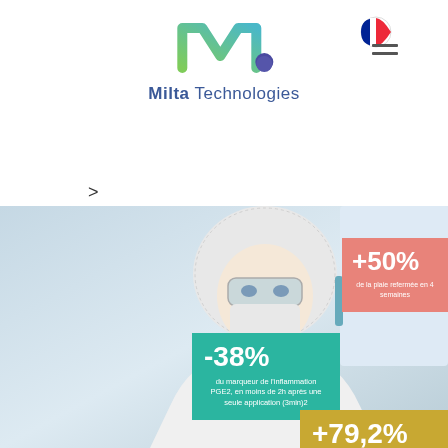[Figure (logo): Milta Technologies logo with gradient M symbol and dark blue dot]
[Figure (illustration): French flag circular icon in top right]
>
[Figure (photo): Female scientist/lab technician wearing hair net, safety goggles and face mask in laboratory setting, with overlay statistics boxes]
-38%
du marqueur de l'inflammation PGE2, en moins de 2h après une seule application (3min)2
+50%
de la plaie refermée en 4 semaines
+79,2%